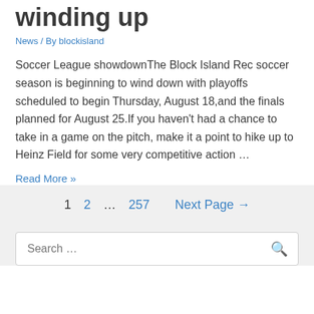winding up
News / By blockisland
Soccer League showdownThe Block Island Rec soccer season is beginning to wind down with playoffs scheduled to begin Thursday, August 18,and the finals planned for August 25.If you haven't had a chance to take in a game on the pitch, make it a point to hike up to Heinz Field for some very competitive action …
Read More »
1  2  …  257  Next Page →
Search …